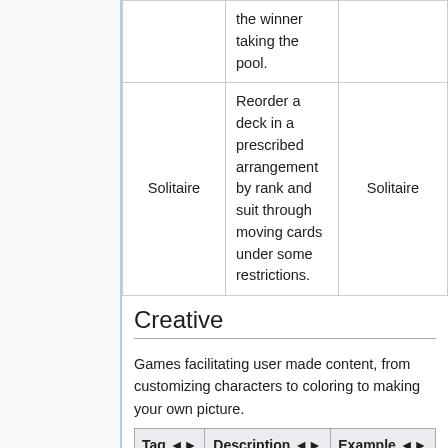| Tag | Description | Example |
| --- | --- | --- |
|  | the winner taking the pool. |  |
| Solitaire | Reorder a deck in a prescribed arrangement by rank and suit through moving cards under some restrictions. | Solitaire |
Creative
Games facilitating user made content, from customizing characters to coloring to making your own picture.
| Tag | Description | Example |
| --- | --- | --- |